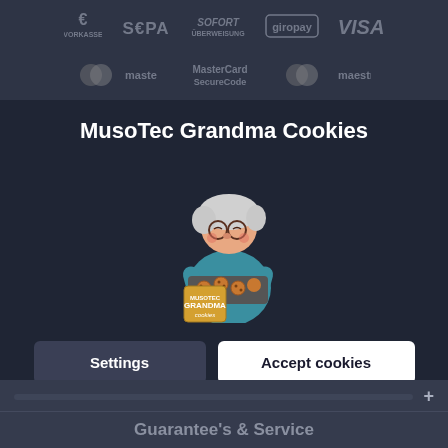[Figure (screenshot): Payment method icons row 1: Euro/Vorkasse, SEPA, Sofort Überweisung, Giropay, VISA]
[Figure (screenshot): Payment method icons row 2: Mastercard, MasterCard SecureCode, Maestro]
MusoTec Grandma Cookies
[Figure (illustration): Cartoon grandma holding a tray of cookies with a Grandma Cookies branded box]
Settings
Accept cookies
Guarantee's & Service